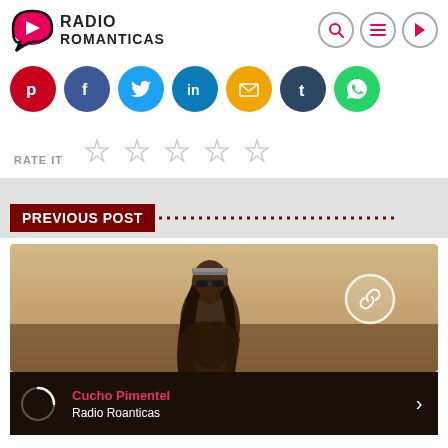[Figure (logo): Radio Romanticas logo with pink play button icon and bold text]
[Figure (infographic): Row of social media share buttons: Pinterest, Facebook, Twitter, LinkedIn, Email, Tumblr, WhatsApp]
RATE IT ★ ★ ★ ★ ★
PREVIOUS POST
[Figure (photo): Photo of a woman with sunglasses and headband in warm desert light, with a chain/link icon circle overlay]
Cucho Pimentel
Radio Roanticas